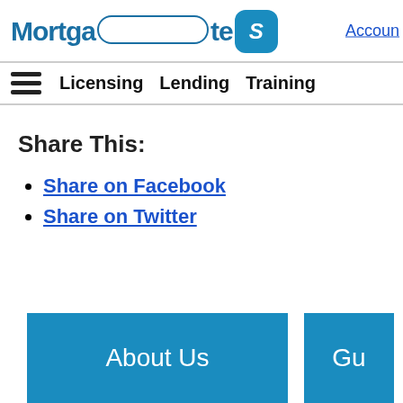Mortgage Rates - Account
Licensing  Lending  Training
Share This:
Share on Facebook
Share on Twitter
About Us
Gu